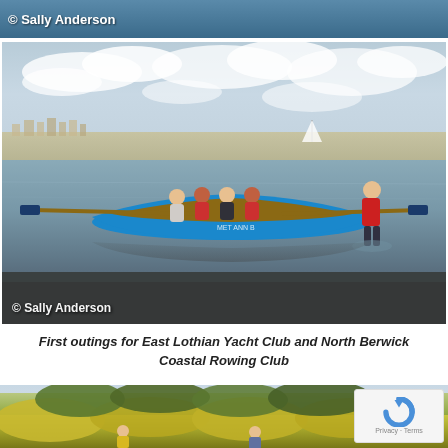© Sally Anderson
[Figure (photo): People rowing a blue traditional wooden rowing boat on calm water near shore, with one person standing in the water at the stern wearing a red jacket. Coastal town visible in the background. Copyright watermark reads '© Sally Anderson'.]
First outings for East Lothian Yacht Club and North Berwick Coastal Rowing Club
[Figure (photo): Bottom portion of a photo showing green trees/hedges with two people standing in front. A reCAPTCHA widget with Privacy and Terms links is visible in the lower right corner.]